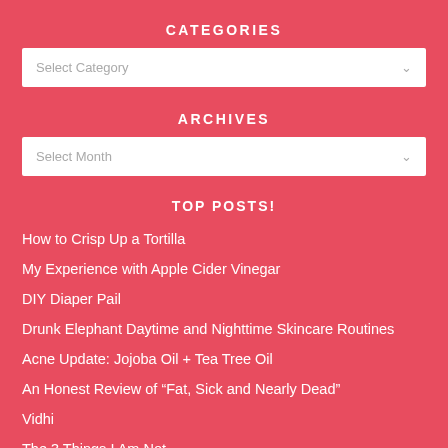CATEGORIES
[Figure (screenshot): Dropdown select box with placeholder text 'Select Category' and a chevron arrow]
ARCHIVES
[Figure (screenshot): Dropdown select box with placeholder text 'Select Month' and a chevron arrow]
TOP POSTS!
How to Crisp Up a Tortilla
My Experience with Apple Cider Vinegar
DIY Diaper Pail
Drunk Elephant Daytime and Nighttime Skincare Routines
Acne Update: Jojoba Oil + Tea Tree Oil
An Honest Review of “Fat, Sick and Nearly Dead”
Vidhi
The 3 Things I Am Not